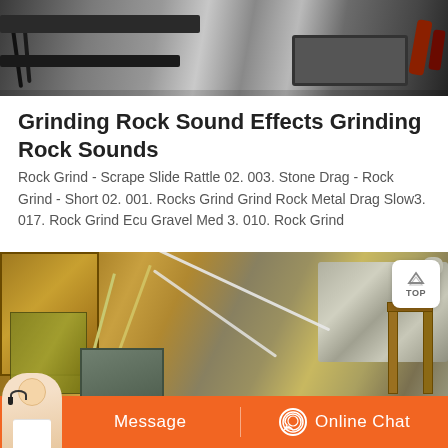[Figure (photo): Industrial machinery or rock grinding equipment, close-up view of metal frames and cables]
Grinding Rock Sound Effects Grinding Rock Sounds
Rock Grind - Scrape Slide Rattle 02. 003. Stone Drag - Rock Grind - Short 02. 001. Rocks Grind Grind Rock Metal Drag Slow3. 017. Rock Grind Ecu Gravel Med 3. 010. Rock Grind
[Figure (photo): Rock crushing or mining equipment with metal panels and rocks/gravel visible]
Message   Online Chat